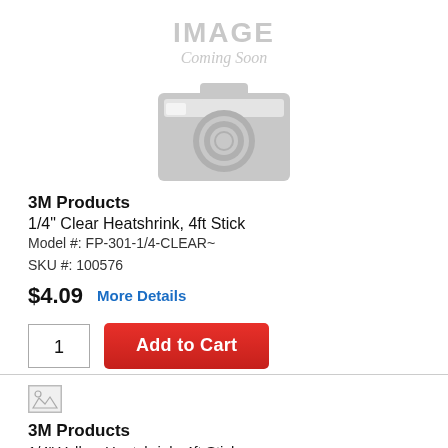[Figure (illustration): Image Coming Soon placeholder with camera icon in gray]
3M Products
1/4" Clear Heatshrink, 4ft Stick
Model #: FP-301-1/4-CLEAR~
SKU #: 100576
$4.09   More Details
Add to Cart
[Figure (photo): Small broken image placeholder for second product]
3M Products
1/4" Yellow Heatshrink, 4ft Stick